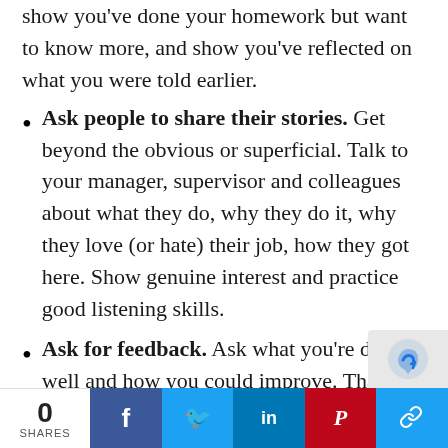show you've done your homework but want to know more, and show you've reflected on what you were told earlier.
Ask people to share their stories. Get beyond the obvious or superficial. Talk to your manager, supervisor and colleagues about what they do, why they do it, why they love (or hate) their job, how they got here. Show genuine interest and practice good listening skills.
Ask for feedback. Ask what you're doing well and how you could improve. Thank people for their feedback. And then u
0 SHARES | f | t | in | P | link